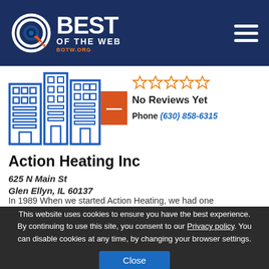[Figure (logo): Best of the Web (BOTW.ORG) logo with circular target icon and bold white text on dark navy background with hamburger menu icon]
[Figure (illustration): Blue line-art illustration of city buildings/office complex icon]
[Figure (infographic): Five empty orange star rating icons indicating no rating, with orange badge/minus sign]
No Reviews Yet
Phone (630) 858-6315
Action Heating Inc
625 N Main St
Glen Ellyn, IL 60137
In 1989 When we started Action Heating, we had one
This website uses cookies to ensure you have the best experience. By continuing to use this site, you consent to our Privacy policy. You can disable cookies at any time, by changing your browser settings.